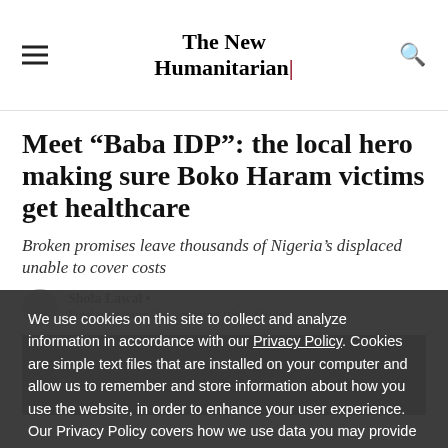The New Humanitarian
Meet “Baba IDP”: the local hero making sure Boko Haram victims get healthcare
Broken promises leave thousands of Nigeria’s displaced unable to cover costs
Shola Lawal • Freelance journalist covering West Africa
[Figure (photo): Photo of trees/outdoor scene, partially visible]
We use cookies on this site to collect and analyze information in accordance with our Privacy Policy. Cookies are simple text files that are installed on your computer and allow us to remember and store information about how you use the website, in order to enhance your user experience. Our Privacy Policy covers how we use data you may provide to us by visiting our website or registering as a subscriber. By continuing to use this website, you give your consent to our Privacy Policy and to our use of cookies.
OK, I agree